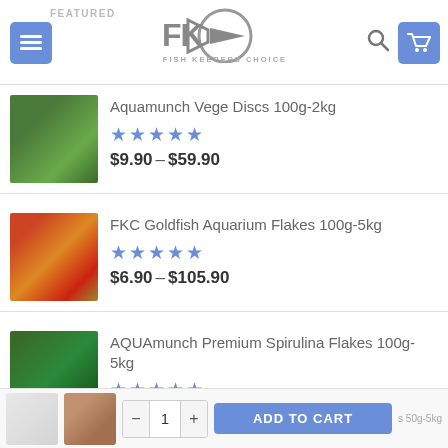FEATURED — Fish Keepers Choice (FKC) website header
Aquamunch Vege Discs 100g-2kg — ★★★★★ — $9.90 – $59.90
FKC Goldfish Aquarium Flakes 100g-5kg — ★★★★★ — $6.90 – $105.90
AQUAmunch Premium Spirulina Flakes 100g-5kg — ★★★★★ — $12.90 – $209.90
LATEST
ADD TO CART — quantity control — 50g-5kg product